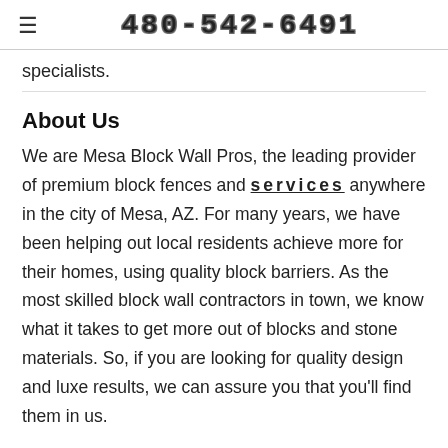480-542-6491
specialists.
About Us
We are Mesa Block Wall Pros, the leading provider of premium block fences and services anywhere in the city of Mesa, AZ. For many years, we have been helping out local residents achieve more for their homes, using quality block barriers. As the most skilled block wall contractors in town, we know what it takes to get more out of blocks and stone materials. So, if you are looking for quality design and luxe results, we can assure you that you'll find them in us.